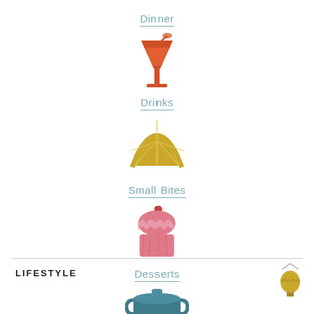[Figure (illustration): Cocktail/drink glass with straw and umbrella icon in orange-red color, with label 'Dinner' above]
[Figure (illustration): Half lemon/citrus slice icon in golden-yellow color, with label 'Drinks' above]
[Figure (illustration): Cupcake with cherry on top icon in pink color, with label 'Small Bites' above and 'Desserts' below]
LIFESTYLE
[Figure (illustration): Hot air balloon small icon in golden color, top right of lifestyle section]
[Figure (illustration): Pot/cooking pot icon in teal color, partially visible at bottom center]